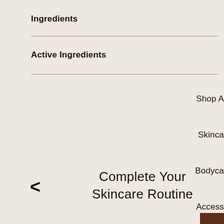Ingredients
Active Ingredients
Shop A
Skinca
Bodyca
Access
Read
Award
Journa
< Complete Your Skincare Routine